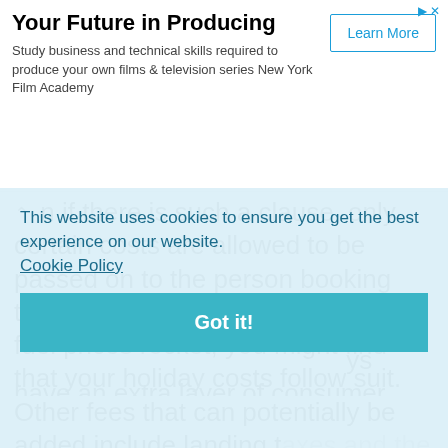[Figure (screenshot): Advertisement banner for New York Film Academy: 'Your Future in Producing' with 'Learn More' button]
n if there is such a clause, only certain costs are allowed to be passed on to the person booking the winter holiday. For example, if fuel prices rocket, you might find that your holiday costs follow suit. Other fees that can potentially be added include landing taxes and a host of other miscellaneous fees. ... the
This website uses cookies to ensure you get the best experience on our website. Cookie Policy
Got it!
ys ... have an extra layer of consumer protection